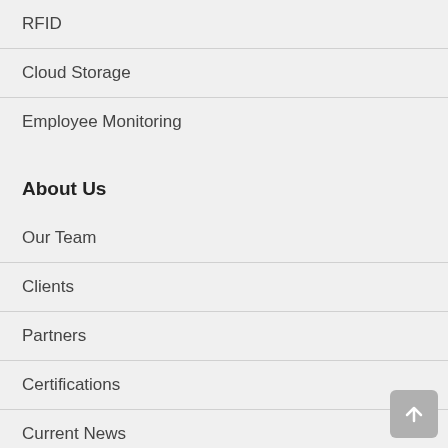RFID
Cloud Storage
Employee Monitoring
About Us
Our Team
Clients
Partners
Certifications
Current News
Newsletters